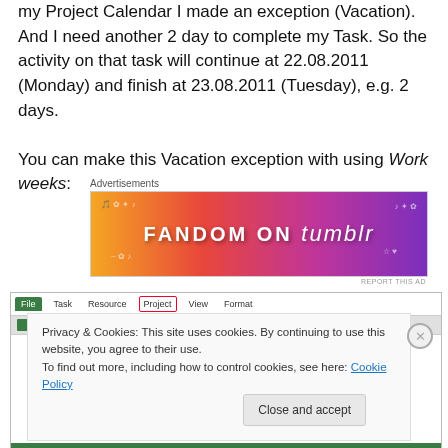my Project Calendar I made an exception (Vacation). And I need another 2 day to complete my Task. So the activity on that task will continue at 22.08.2011 (Monday) and finish at 23.08.2011 (Tuesday), e.g. 2 days.

You can make this Vacation exception with using Work weeks:
[Figure (screenshot): Fandom on Tumblr advertisement banner with colorful gradient background from orange to purple]
[Figure (screenshot): Screenshot of Microsoft Project interface showing toolbar with File, Task, Resource, Project (highlighted with red border), View, Format tabs, overlaid with a cookie consent banner reading: Privacy & Cookies: This site uses cookies. By continuing to use this website, you agree to their use. To find out more, including how to control cookies, see here: Cookie Policy. With a Close and accept button.]